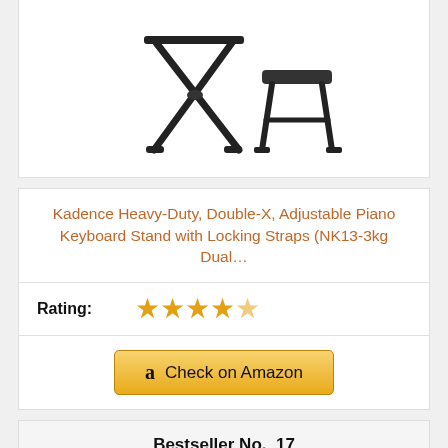[Figure (photo): Kadence keyboard stand and bench product image on white background]
Kadence Heavy-Duty, Double-X, Adjustable Piano Keyboard Stand with Locking Straps (NK13-3kg Dual…
Rating: ★★★★☆
Check on Amazon
Bestseller No. 17
[Figure (photo): Piano keyboard instrument product image on white background]